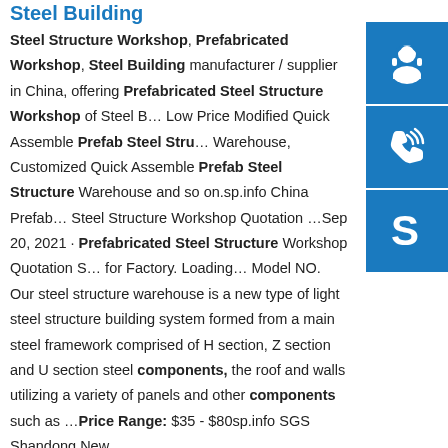Steel Building
Steel Structure Workshop, Prefabricated Workshop, Steel Building manufacturer / supplier in China, offering Prefabricated Steel Structure Workshop of Steel B… Low Price Modified Quick Assemble Prefab Steel Stru… Warehouse, Customized Quick Assemble Prefab Steel Structure Warehouse and so on.sp.info China Prefab… Steel Structure Workshop Quotation ...Sep 20, 2021 · Prefabricated Steel Structure Workshop Quotation S… for Factory. Loading... Model NO. Our steel structure warehouse is a new type of light steel structure building system formed from a main steel framework comprised of H section, Z section and U section steel components, the roof and walls utilizing a variety of panels and other components such as …Price Range: $35 - $80sp.info SGS Shandong New
[Figure (illustration): Blue square button with white headset/customer support icon]
[Figure (illustration): Blue square button with white phone/call icon]
[Figure (illustration): Blue square button with white Skype icon]